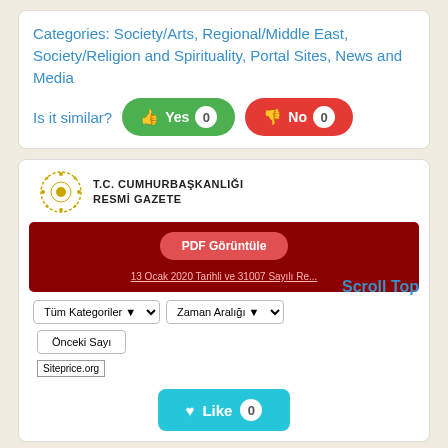Categories: Society/Arts, Regional/Middle East, Society/Religion and Spirituality, Portal Sites, News and Media
Is it similar? Yes 0  No 0
[Figure (screenshot): Screenshot of T.C. Cumhurbaşkanlığı Resmî Gazete website showing PDF Görüntüle button, a link '13 Ocak 2020 Tarihli ve 31007 Sayılı Res...', filter dropdowns for Tüm Kategoriler and Zaman Aralığı, Önceki Sayı button, Siteprice.org label, and a Like button with count 0. A 'Scroll Top' link appears to the right.]
resmigazete.gov.tr